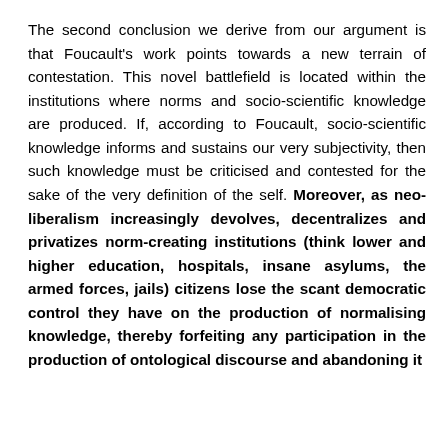The second conclusion we derive from our argument is that Foucault's work points towards a new terrain of contestation. This novel battlefield is located within the institutions where norms and socio-scientific knowledge are produced. If, according to Foucault, socio-scientific knowledge informs and sustains our very subjectivity, then such knowledge must be criticised and contested for the sake of the very definition of the self. Moreover, as neo-liberalism increasingly devolves, decentralizes and privatizes norm-creating institutions (think lower and higher education, hospitals, insane asylums, the armed forces, jails) citizens lose the scant democratic control they have on the production of normalising knowledge, thereby forfeiting any participation in the production of ontological discourse and abandoning it